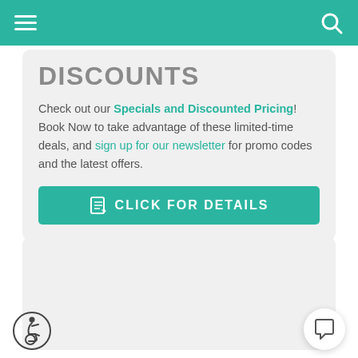Navigation bar with hamburger menu and search icon
DISCOUNTS
Check out our Specials and Discounted Pricing! Book Now to take advantage of these limited-time deals, and sign up for our newsletter for promo codes and the latest offers.
CLICK FOR DETAILS
[Figure (other): Empty grey card section below discounts card]
[Figure (other): Wheelchair accessibility icon in bottom left corner]
[Figure (other): Chat/message icon in bottom right corner]